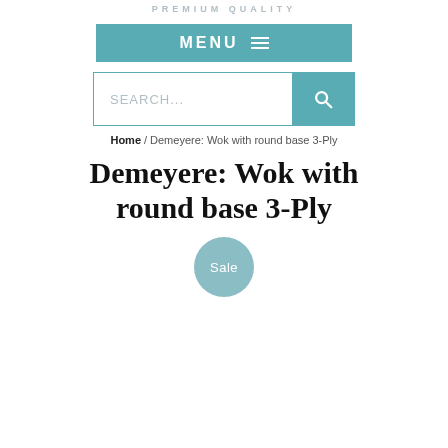PREMIUM QUALITY
[Figure (screenshot): MENU button with hamburger icon in teal/blue-green color]
[Figure (screenshot): Search bar with teal search button and magnifying glass icon]
Home / Demeyere: Wok with round base 3-Ply
Demeyere: Wok with round base 3-Ply
[Figure (other): Circular Sale badge in muted teal/grey-green color]